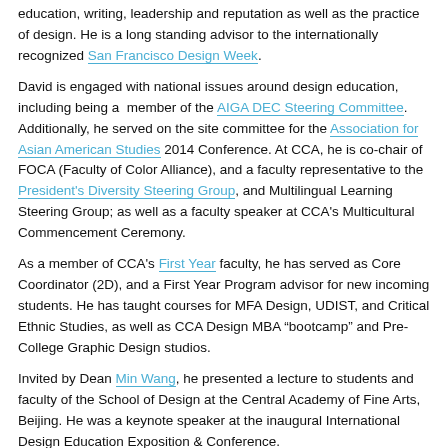education, writing, leadership and reputation as well as the practice of design. He is a long standing advisor to the internationally recognized San Francisco Design Week.
David is engaged with national issues around design education, including being a member of the AIGA DEC Steering Committee. Additionally, he served on the site committee for the Association for Asian American Studies 2014 Conference. At CCA, he is co-chair of FOCA (Faculty of Color Alliance), and a faculty representative to the President's Diversity Steering Group, and Multilingual Learning Steering Group; as well as a faculty speaker at CCA's Multicultural Commencement Ceremony.
As a member of CCA's First Year faculty, he has served as Core Coordinator (2D), and a First Year Program advisor for new incoming students. He has taught courses for MFA Design, UDIST, and Critical Ethnic Studies, as well as CCA Design MBA “bootcamp” and Pre-College Graphic Design studios.
Invited by Dean Min Wang, he presented a lecture to students and faculty of the School of Design at the Central Academy of Fine Arts, Beijing. He was a keynote speaker at the inaugural International Design Education Exposition & Conference.
Asari studied printmaking (intaglio etching and lithography) at the